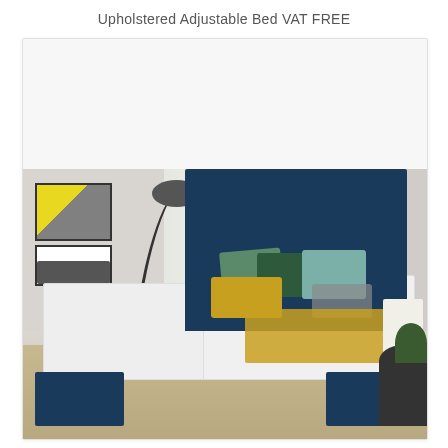Upholstered Adjustable Bed VAT FREE
[Figure (photo): Product photo of a navy blue upholstered adjustable bed with white mattresses, colorful pillows (green, teal, yellow, dark green, gray), a yellow throw blanket, shown in a styled bedroom with arc floor lamp, framed wall art, shuttered windows, and a side table with lamp.]